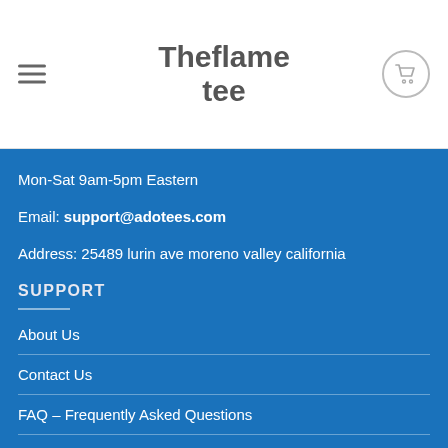Theflame tee
Mon-Sat 9am-5pm Eastern
Email: support@adotees.com
Address: 25489 lurin ave moreno valley california
SUPPORT
About Us
Contact Us
FAQ – Frequently Asked Questions
Payment